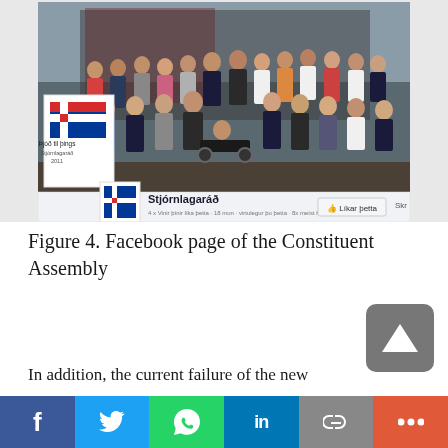[Figure (screenshot): Facebook page screenshot of 'Stjórnlagaráð' (Constituent Assembly of Iceland), showing a group photo of assembly members and a Facebook page interface with profile image (Þjóð til þings, Stjórnlagaráð 2011), page name, Like button, and partial share/skip options.]
Figure 4. Facebook page of the Constituent Assembly
In addition, the current failure of the new